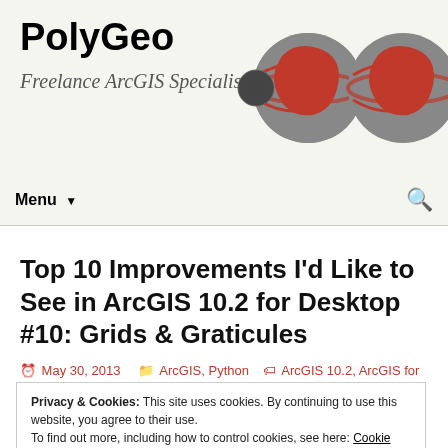PolyGeo
Freelance ArcGIS Specialist
Top 10 Improvements I'd Like to See in ArcGIS 10.2 for Desktop #10: Grids & Graticules
May 30, 2013   ArcGIS, Python   ArcGIS 10.2, ArcGIS for Desktop, ArcGIS Ideas
Privacy & Cookies: This site uses cookies. By continuing to use this website, you agree to their use.
To find out more, including how to control cookies, see here: Cookie Policy
Conference. For me it is always one of the UC highlights